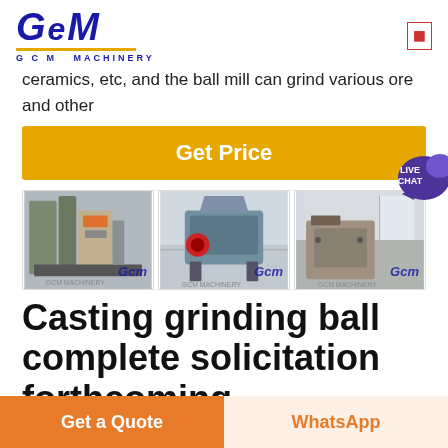[Figure (logo): GCM Machinery logo with blue italic GCM text, gold underline, and 'G C M  MACHINERY' subtitle]
ceramics, etc, and the ball mill can grind various ore and other
Get Price
[Figure (photo): Three industrial machinery photos side by side showing ball mill and grinding equipment with GCM watermarks]
Casting grinding ball complete solicitation forthcoming
Get a Quote
WhatsApp